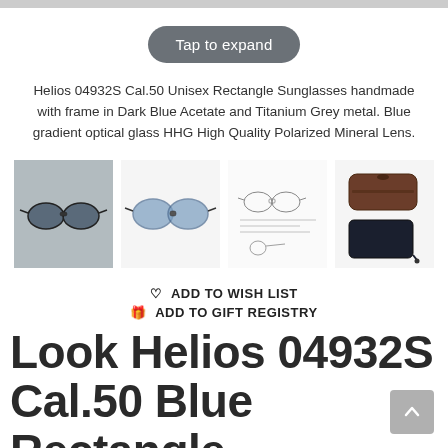Tap to expand
Helios 04932S Cal.50 Unisex Rectangle Sunglasses handmade with frame in Dark Blue Acetate and Titanium Grey metal. Blue gradient optical glass HHG High Quality Polarized Mineral Lens.
[Figure (photo): Four thumbnail product images of the Helios 04932S sunglasses: first shows the sunglasses on a grey background, second shows a front view of the blue lenses, third shows a line-drawing specification diagram, fourth shows the brown case and dark pouch accessories.]
ADD TO WISH LIST
ADD TO GIFT REGISTRY
Look Helios 04932S Cal.50 Blue Rectangle Sunglasses - Blue